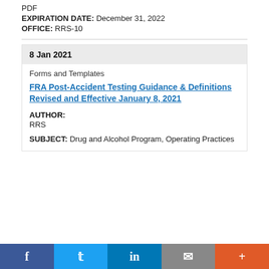PDF
EXPIRATION DATE: December 31, 2022
OFFICE: RRS-10
8 Jan 2021
Forms and Templates
FRA Post-Accident Testing Guidance & Definitions Revised and Effective January 8, 2021
AUTHOR:
RRS
SUBJECT: Drug and Alcohol Program, Operating Practices